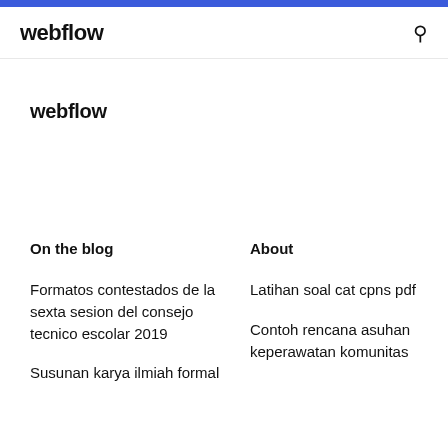webflow
webflow
On the blog
About
Formatos contestados de la sexta sesion del consejo tecnico escolar 2019
Latihan soal cat cpns pdf
Contoh rencana asuhan keperawatan komunitas
Susunan karya ilmiah formal